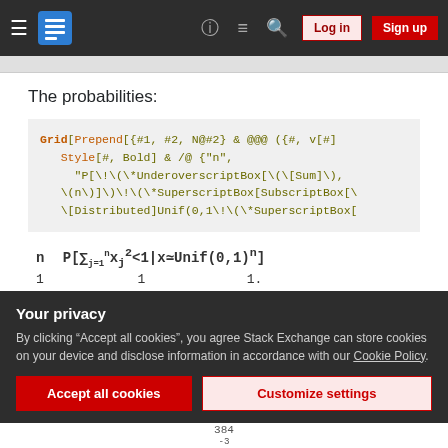Stack Exchange navigation bar with hamburger menu, logo, help, chat, search icons, Log in and Sign up buttons
The probabilities:
[Figure (screenshot): Code block showing Mathematica code: Grid[Prepend[{#1, #2, N@#2} & @@@ ({#, v[#] Style[# Bold] & /@ {"n", "P[\!\(\*UnderoverscriptBox[\(\[Sum]\), \(n\)]\)\!\(\*SuperscriptBox[SubscriptBox[\ \[Distributed]Unif(0,1\!\(\*SuperscriptBox[]
1    1    1.
Your privacy
By clicking "Accept all cookies", you agree Stack Exchange can store cookies on your device and disclose information in accordance with our Cookie Policy.
Accept all cookies   Customize settings
384
-3